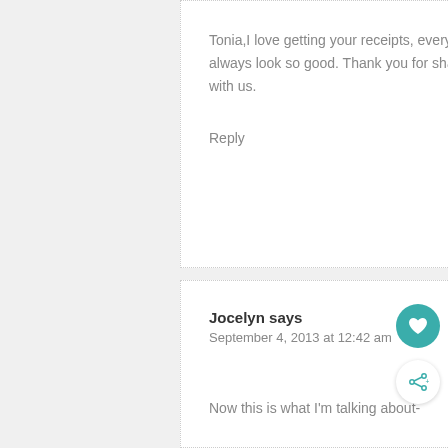Tonia,I love getting your receipts, every thing always look so good. Thank you for sharing with us.
Reply
Jocelyn says
September 4, 2013 at 12:42 am
Now this is what I'm talking about-